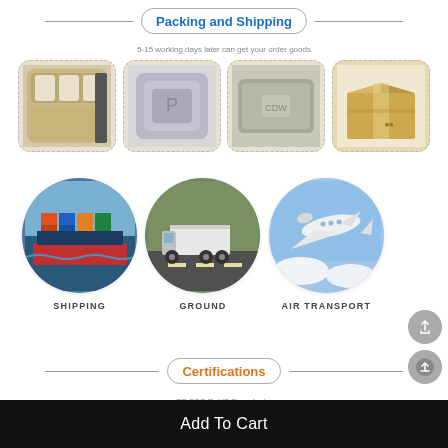Packing and Shipping
5-15 working days later can get your order goods
[Figure (photo): Four packing images showing box interior, wrapped item, flat package, and cardboard box]
[Figure (photo): Three circular transport images: cargo ship (SHIPPING), truck (GROUND), airplane (AIR TRANSPORT)]
Certifications
CE FCC RoHS E-mark etc.
Add To Cart